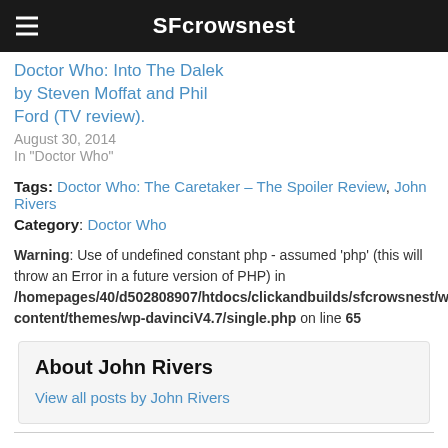SFcrowsnest
Doctor Who: Into The Dalek by Steven Moffat and Phil Ford (TV review).
August 30, 2014
In "Doctor Who"
Tags: Doctor Who: The Caretaker – The Spoiler Review, John Rivers
Category: Doctor Who
Warning: Use of undefined constant php - assumed 'php' (this will throw an Error in a future version of PHP) in /homepages/40/d502808907/htdocs/clickandbuilds/sfcrowsnest/wp-content/themes/wp-davinciV4.7/single.php on line 65
About John Rivers
View all posts by John Rivers